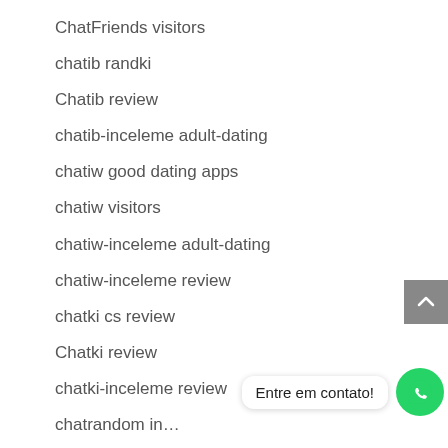ChatFriends visitors
chatib randki
Chatib review
chatib-inceleme adult-dating
chatiw good dating apps
chatiw visitors
chatiw-inceleme adult-dating
chatiw-inceleme review
chatki cs review
Chatki review
chatki-inceleme review
chatrandom in…
chatrandom pl review
Entre em contato!